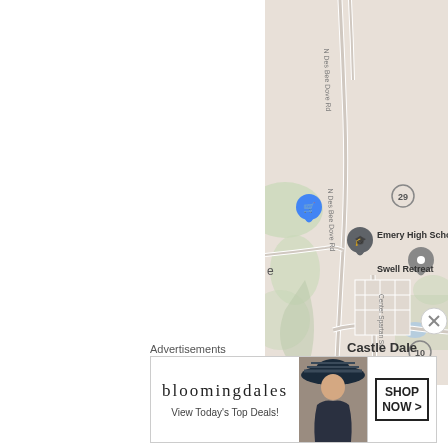[Figure (map): Google Maps screenshot showing Castle Dale area in Utah with N Des Bee Dove Rd running north-south, Emery High School marker, Swell Retreat marker, shopping cart blue pin marker, route 29 and route 10 markers, Center Spartan St, and Castle Dale label.]
Advertisements
[Figure (screenshot): Bloomingdale's advertisement banner with logo text 'bloomingdales', tagline 'View Today's Top Deals!', a woman in a large hat, and a 'SHOP NOW >' button.]